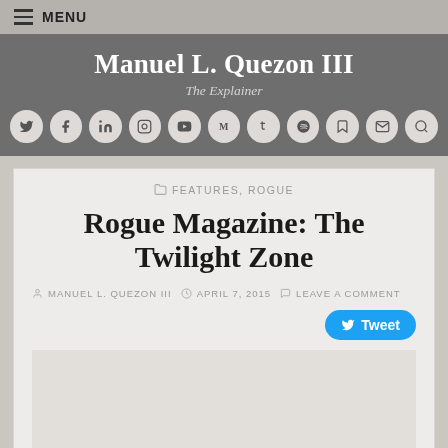MENU
Manuel L. Quezon III
The Explainer
[Figure (infographic): Row of social media icon circles: Twitter, Facebook, LinkedIn, Instagram, YouTube, Medium, Tumblr, Spotify, unknown, Email, Search]
FEATURES, ROGUE
Rogue Magazine: The Twilight Zone
MANUEL L. QUEZON III   APRIL 7, 2015   LEAVE A COMMENT
[Figure (other): Tweet button]